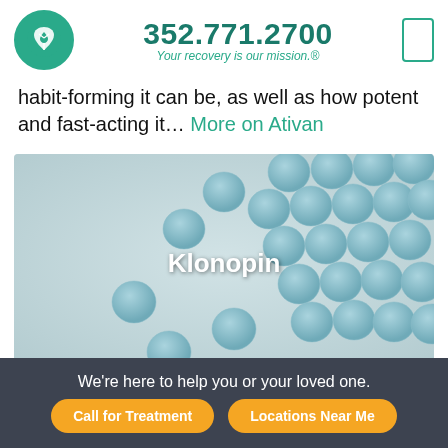352.771.2700 — Your recovery is our mission.®
habit-forming it can be, as well as how potent and fast-acting it… More on Ativan
[Figure (photo): Blue Klonopin pills scattered on a light gray surface with the word 'Klonopin' displayed in white bold text over the image.]
We're here to help you or your loved one. | Call for Treatment | Locations Near Me